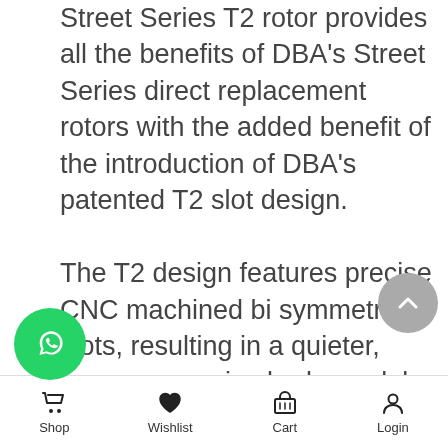Street Series T2 rotor provides all the benefits of DBA's Street Series direct replacement rotors with the added benefit of the introduction of DBA's patented T2 slot design. The T2 design features precise CNC machined bi symmetrical slots, resulting in a quieter, more responsive brake pedal feel. The T2 increases the number of exit points, allowing friction dust and gases to escape, thus enhancing the pad bite. denoted by the suffix (S) in Street Series part numbers.
Shop  Wishlist  Cart  Login